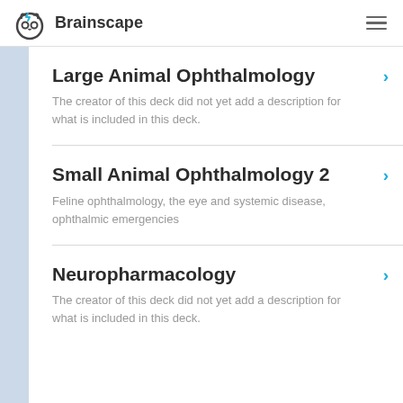Brainscape
Large Animal Ophthalmology
The creator of this deck did not yet add a description for what is included in this deck.
Small Animal Ophthalmology 2
Feline ophthalmology, the eye and systemic disease, ophthalmic emergencies
Neuropharmacology
The creator of this deck did not yet add a description for what is included in this deck.